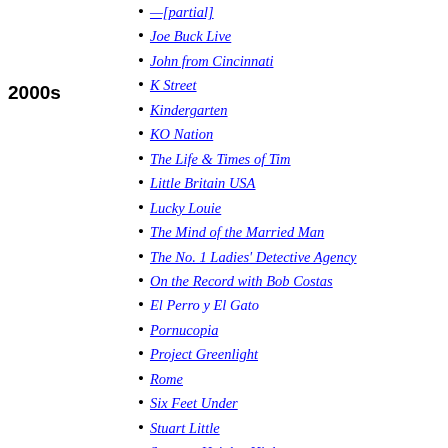—[partial]
Joe Buck Live
John from Cincinnati
2000s
K Street
Kindergarten
KO Nation
The Life & Times of Tim
Little Britain USA
Lucky Louie
The Mind of the Married Man
The No. 1 Ladies' Detective Agency
On the Record with Bob Costas
El Perro y El Gato
Pornucopia
Project Greenlight
Rome
Six Feet Under
Stuart Little
Summer Heights High
Tales from the Neverending Story
Tell Me You Love Me
True Blood
Tourgasm
Unscripted
The Wire